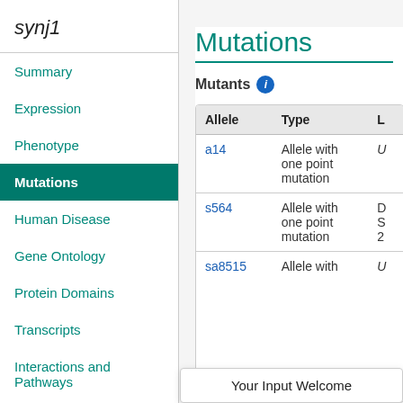synj1
Summary
Expression
Phenotype
Mutations
Human Disease
Gene Ontology
Protein Domains
Transcripts
Interactions and Pathways
Antibodies
Plasmids
Mutations
Mutants
| Allele | Type | L… |
| --- | --- | --- |
| a14 | Allele with one point mutation | U… |
| s564 | Allele with one point mutation | D… S… 2… |
| sa8515 | Allele with… | U… |
Your Input Welcome